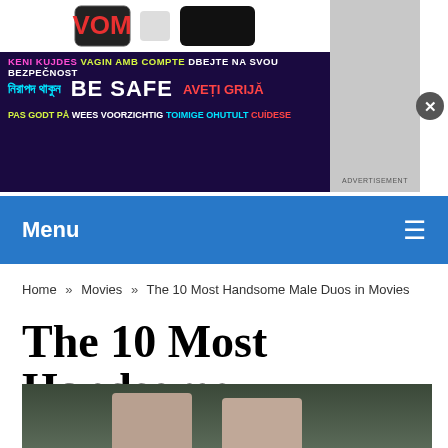[Figure (other): Advertisement banner with multilingual 'BE SAFE' message in multiple languages on dark background]
Menu
Home » Movies » The 10 Most Handsome Male Duos in Movies
The 10 Most Handsome Male Duos in Movies
[Figure (photo): Photo of two handsome male actors outdoors]